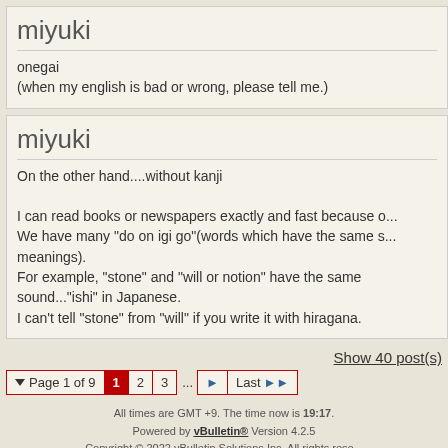miyuki
onegai
(when my english is bad or wrong, please tell me.)
miyuki
On the other hand....without kanji

I can read books or newspapers exactly and fast because o...
We have many "do on igi go"(words which have the same s... meanings).
For example, "stone" and "will or notion" have the same sound..."ishi" in Japanese.
I can't tell "stone" from "will" if you write it with hiragana.
Show 40 post(s)
Page 1 of 9  1  2  3  ...  Last
All times are GMT +9. The time now is 19:17.
Powered by vBulletin® Version 4.2.5
Copyright © 2022 vBulletin Solutions Inc. All rights reserved.